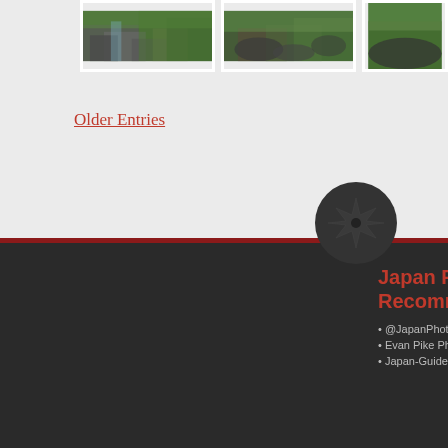[Figure (photo): Three nature/garden photos with rocks, moss and greenery at top of page]
Older Entries
[Figure (logo): Dark circle with maple leaf star logo]
[Figure (logo): Dark rounded square with white flower logo]
Recent Posts
What's so special about Japanese convenience stores?
March '22 Update with Japan's COVID Measures;
Will Japan finally open in March 2022?
Useful expressions when you want to ask someone out in Japanese
Japan Photo Recommendations
@JapanPhotoG...
Evan Pike Phot...
Japan-Guide.co...